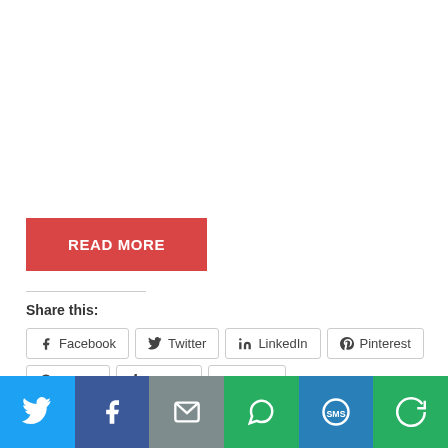READ MORE
Share this:
[Figure (other): Social media share buttons: Facebook, Twitter, LinkedIn, Pinterest, Reddit, Tumblr, Email]
[Figure (other): Bottom social bar with icons: Twitter (blue), Facebook (dark blue), Email (gray), WhatsApp (green), SMS (blue), Share (green)]